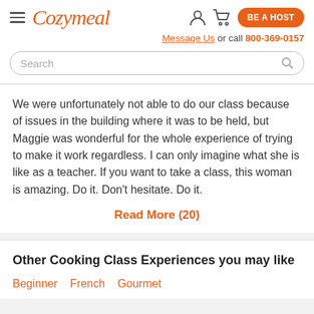Cozymeal — navigation bar with hamburger menu, logo, user icon, cart icon, BE A HOST button
Message Us or call 800-369-0157
Search
We were unfortunately not able to do our class because of issues in the building where it was to be held, but Maggie was wonderful for the whole experience of trying to make it work regardless. I can only imagine what she is like as a teacher. If you want to take a class, this woman is amazing. Do it. Don't hesitate. Do it.
Read More (20)
Other Cooking Class Experiences you may like
Beginner
French
Gourmet